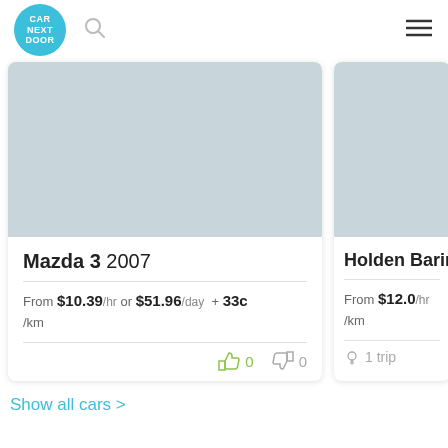[Figure (logo): Car Next Door circular teal logo]
Mazda 3 2007
From $10.39 /hr or $51.96 /day + 33c /km
thumbs up 0  thumbs down 0
Holden Barin
From $12.0 /hr /km
1 trip
Show all cars >